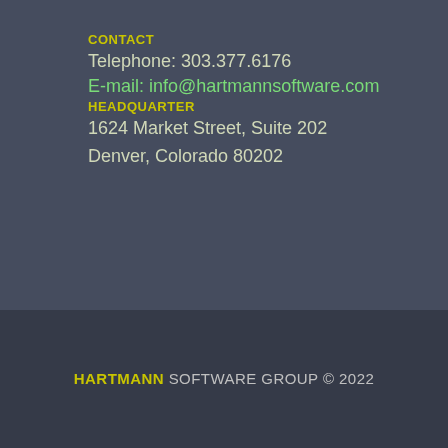CONTACT
Telephone: 303.377.6176
E-mail: info@hartmannsoftware.com
HEADQUARTER
1624 Market Street, Suite 202
Denver, Colorado 80202
HARTMANN SOFTWARE GROUP © 2022